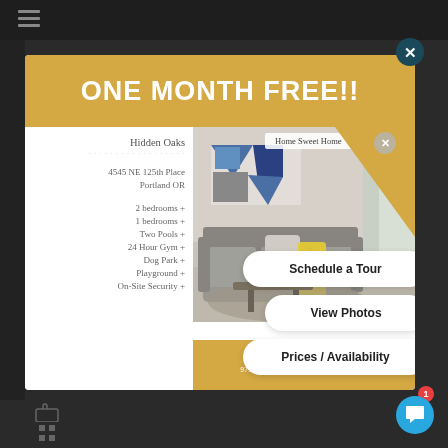ONE MONTH FREE!!
Home Sweet Home
Hidden Oaks
4545 NE 125th Place
Portland OR
2 bedrooms +
1 bedrooms +
Two Pools +
24 Hour Gym +
Dog Park +
Playground +
On-Site Security +
[Figure (photo): Interior room photo showing living room with gray sofa, yellow throw blanket, abstract wall art, and curtained window]
Schedule a Tour
View Photos
Prices / Availability
For more info:
971-229-1663 | www.livehiddenoaks.com